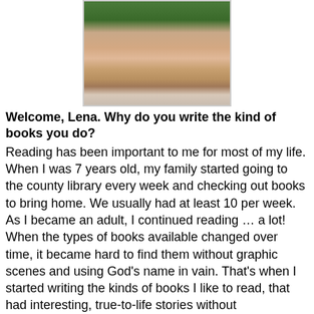[Figure (photo): Portrait photo of a woman (Lena) with light hair, wearing a light-colored top and a necklace, with green foliage in the background.]
Welcome, Lena. Why do you write the kind of books you do?
Reading has been important to me for most of my life. When I was 7 years old, my family started going to the county library every week and checking out books to bring home. We usually had at least 10 per week. As I became an adult, I continued reading … a lot! When the types of books available changed over time, it became hard to find them without graphic scenes and using God's name in vain. That's when I started writing the kinds of books I like to read, that had interesting, true-to-life stories without objectionable content.
Besides when you came to know the Lord, what is the happiest day in your life?
I often ask other authors this question, but now that I have to